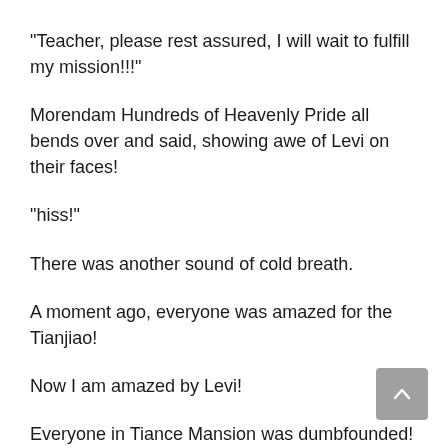“Teacher, please rest assured, I will wait to fulfill my mission!!!”
Morendam Hundreds of Heavenly Pride all bends over and said, showing awe of Levi on their faces!
“hiss!”
There was another sound of cold breath.
A moment ago, everyone was amazed for the Tianjiao!
Now I am amazed by Levi!
Everyone in Tiance Mansion was dumbfounded!